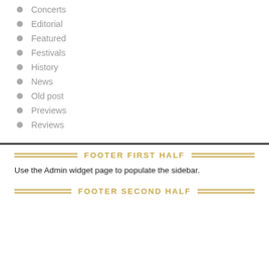Concerts
Editorial
Featured
Festivals
History
News
Old post
Previews
Reviews
FOOTER FIRST HALF
Use the Admin widget page to populate the sidebar.
FOOTER SECOND HALF